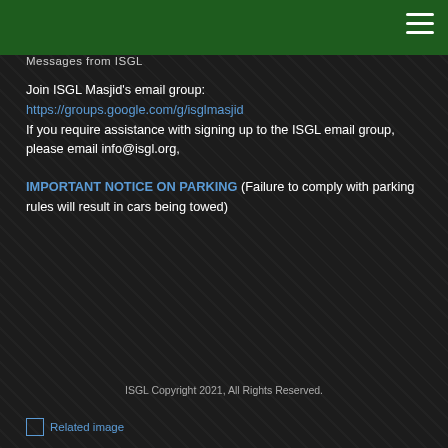Messages from ISGL
Join ISGL Masjid's email group:
https://groups.google.com/g/isglmasjid
If you require assistance with signing up to the ISGL email group, please email info@isgl.org,
IMPORTANT NOTICE ON PARKING (Failure to comply with parking rules will result in cars being towed)
ISGL Copyright 2021, All Rights Reserved.
[Figure (other): Related image placeholder with broken image icon and text 'Related image']